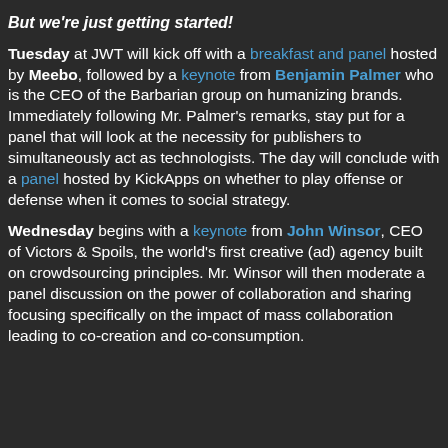But we're just getting started!
Tuesday at JWT will kick off with a breakfast and panel hosted by Meebo, followed by a keynote from Benjamin Palmer who is the CEO of the Barbarian group on humanizing brands. Immediately following Mr. Palmer's remarks, stay put for a panel that will look at the necessity for publishers to simultaneously act as technologists. The day will conclude with a panel hosted by KickApps on whether to play offense or defense when it comes to social strategy.
Wednesday begins with a keynote from John Winsor, CEO of Victors & Spoils, the world's first creative (ad) agency built on crowdsourcing principles. Mr. Winsor will then moderate a panel discussion on the power of collaboration and sharing focusing specifically on the impact of mass collaboration leading to co-creation and co-consumption.